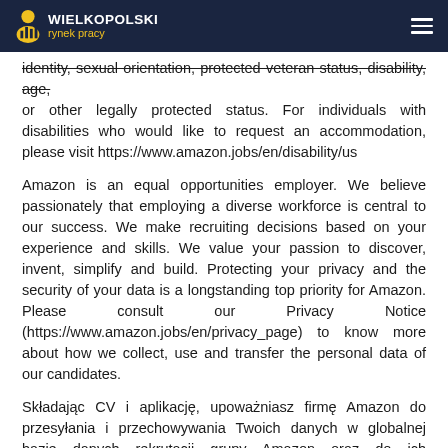WIELKOPOLSKI rynek pracy
identity, sexual orientation, protected veteran status, disability, age, or other legally protected status. For individuals with disabilities who would like to request an accommodation, please visit https://www.amazon.jobs/en/disability/us
Amazon is an equal opportunities employer. We believe passionately that employing a diverse workforce is central to our success. We make recruiting decisions based on your experience and skills. We value your passion to discover, invent, simplify and build. Protecting your privacy and the security of your data is a longstanding top priority for Amazon. Please consult our Privacy Notice (https://www.amazon.jobs/en/privacy_page) to know more about how we collect, use and transfer the personal data of our candidates.
Składając CV i aplikację, upoważniasz firmę Amazon do przesyłania i przechowywania Twoich danych w globalnej bazie danych rekrutacji grupy Amazon oraz do ich udostępniania w celu oceny Twoich kwalifikacji pod kątem tej lub innej oferty pracy.